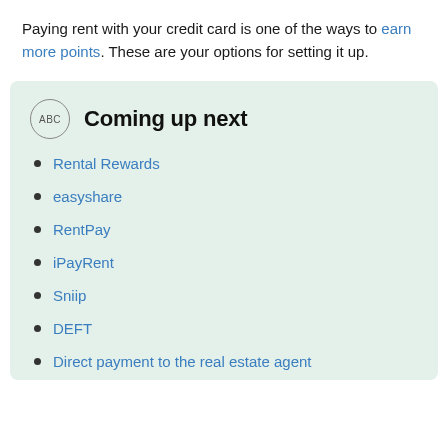Paying rent with your credit card is one of the ways to earn more points. These are your options for setting it up.
Coming up next
Rental Rewards
easyshare
RentPay
iPayRent
Sniip
DEFT
Direct payment to the real estate agent